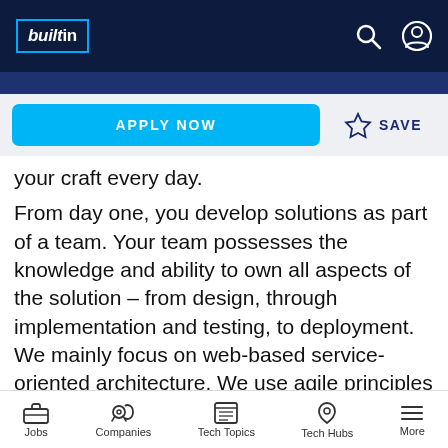builtin
your craft every day.
From day one, you develop solutions as part of a team. Your team possesses the knowledge and ability to own all aspects of the solution – from design, through implementation and testing, to deployment. We mainly focus on web-based service-oriented architecture. We use agile principles and Scrum processes and milestones (Planning, Refinement,
Jobs  Companies  Tech Topics  Tech Hubs  More